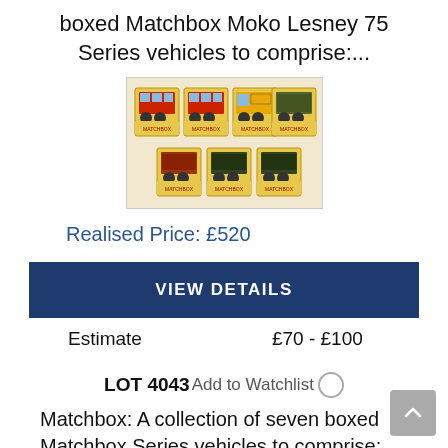boxed Matchbox Moko Lesney 75 Series vehicles to comprise:...
[Figure (photo): Photo of multiple boxed Matchbox Moko Lesney 75 Series toy vehicles arranged in two rows, showing colorful yellow boxes with toy cars and buses.]
Realised Price: £520
VIEW DETAILS
Estimate    £70 - £100
LOT 4043 Add to Watchlist
Matchbox: A collection of seven boxed Matchbox Series vehicles to comprise: London Bus 5, two